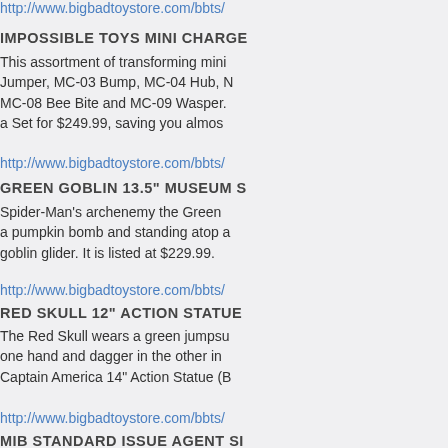http://www.bigbadtoystore.com/bbts/
IMPOSSIBLE TOYS MINI CHARGE
This assortment of transforming mini... Jumper, MC-03 Bump, MC-04 Hub, MC-08 Bee Bite and MC-09 Wasper. a Set for $249.99, saving you almost...
http://www.bigbadtoystore.com/bbts/
GREEN GOBLIN 13.5" MUSEUM S
Spider-Man's archenemy the Green... a pumpkin bomb and standing atop a goblin glider. It is listed at $229.99.
http://www.bigbadtoystore.com/bbts/
RED SKULL 12" ACTION STATUE
The Red Skull wears a green jumpsu... one hand and dagger in the other in... Captain America 14" Action Statue (B...
http://www.bigbadtoystore.com/bbts/
MIB STANDARD ISSUE AGENT SI
This replica is of a limited edition of 2... and a display base with acrylic cover...